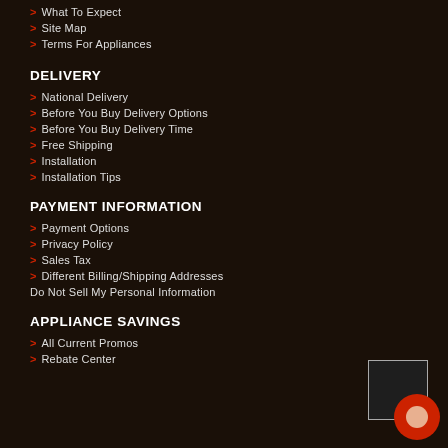> What To Expect
> Site Map
> Terms For Appliances
DELIVERY
> National Delivery
> Before You Buy Delivery Options
> Before You Buy Delivery Time
> Free Shipping
> Installation
> Installation Tips
PAYMENT INFORMATION
> Payment Options
> Privacy Policy
> Sales Tax
> Different Billing/Shipping Addresses
Do Not Sell My Personal Information
APPLIANCE SAVINGS
> All Current Promos
> Rebate Center